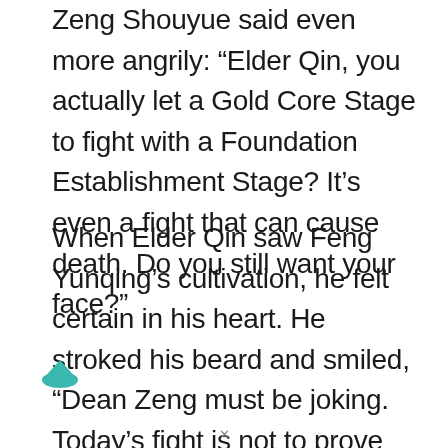Zeng Shouyue said even more angrily: “Elder Qin, you actually let a Gold Core Stage to fight with a Foundation Establishment Stage? It’s even a fight that can cause death. Do you still want your face?”
When Elder Qin saw Feng Yunqing’s cultivation, he felt certain in his heart. He stroked his beard and smiled, “Dean Zeng must be joking. Today’s fight is not to prove whose strength is stronger, but to prove Xi Yue’s innocence. If he can’t win against Yunqing, it means that he is cheating. Even if